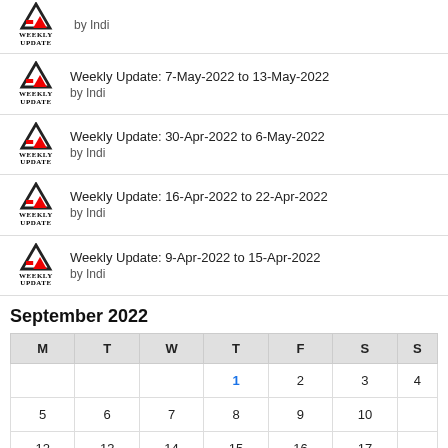Weekly Update: 7-May-2022 to 13-May-2022 by Indi
Weekly Update: 30-Apr-2022 to 6-May-2022 by Indi
Weekly Update: 16-Apr-2022 to 22-Apr-2022 by Indi
Weekly Update: 9-Apr-2022 to 15-Apr-2022 by Indi
September 2022
| M | T | W | T | F | S | S |
| --- | --- | --- | --- | --- | --- | --- |
|  |  |  | 1 | 2 | 3 | 4 |
| 5 | 6 | 7 | 8 | 9 | 10 |  |
| 12 | 13 | 14 | 15 | 16 | 17 |  |